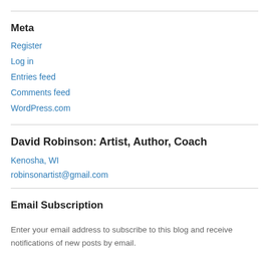Meta
Register
Log in
Entries feed
Comments feed
WordPress.com
David Robinson: Artist, Author, Coach
Kenosha, WI
robinsonartist@gmail.com
Email Subscription
Enter your email address to subscribe to this blog and receive notifications of new posts by email.